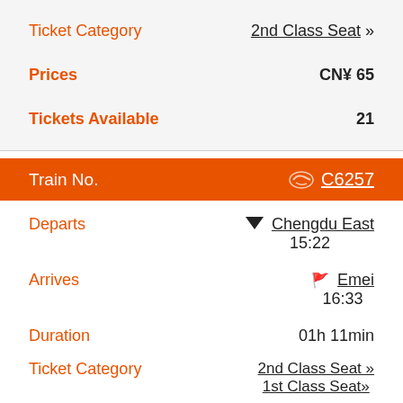Ticket Category: 2nd Class Seat »
Prices: CN¥ 65
Tickets Available: 21
Train No.  C6257
Departs: Chengdu East 15:22
Arrives: Emei 16:33
Duration: 01h 11min
Ticket Category: 2nd Class Seat » / 1st Class Seat»